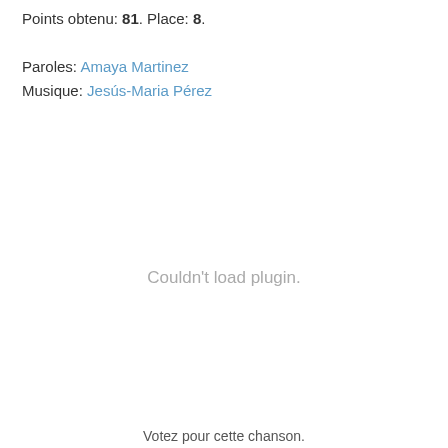Points obtenu: 81. Place: 8.
Paroles: Amaya Martinez
Musique: Jesús-Maria Pérez
Couldn't load plugin.
Votez pour cette chanson.